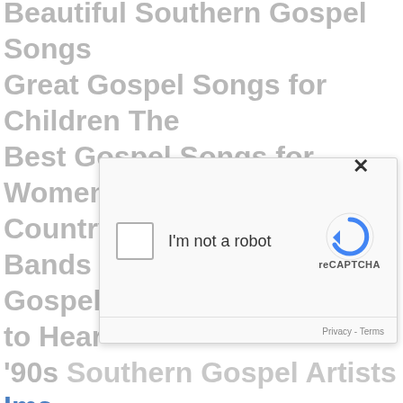Beautiful Southern Gospel Songs
Great Gospel Songs for Children The
Best Gospel Songs for Women Top
Country Gospel Artists & Bands
Gospel Rap Songs You Need to Hear
'90s Southern Gospel Artists
Ima[ge link - partial]
Then to Adam He said, "Because you have listened to the w
[Figure (screenshot): reCAPTCHA widget with checkbox labeled 'I'm not a robot', reCAPTCHA logo, and Privacy - Terms footer links]
This is a list of Christian worship music artists or bands. This list includes notable artists or bands that have recorded or been known to perform contemporary worship music at some point in their careers. This includes worship leaders, Christian songwriters, and contemporary Christian music artists. It is not a list of contemporary Christian music artists alone. Biblical Verses Image
Paul knew that the outward man or woman was perishing,